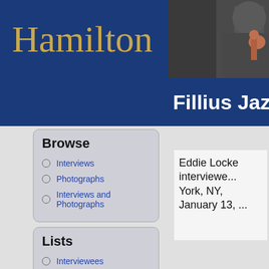[Figure (screenshot): Hamilton college logo/wordmark in gold on dark blue background, left portion of header]
[Figure (photo): Partial photo of a jazz musician with dark background, right portion of header]
Fillius Jazz
Home › Collections › Fillius Jazz Arch...
Browse
Interviews
Photographs
Interviews and Photographs
Lists
Interviewees
Select People
Tags
Eddie Locke interviewed... York, NY, January 13, ...